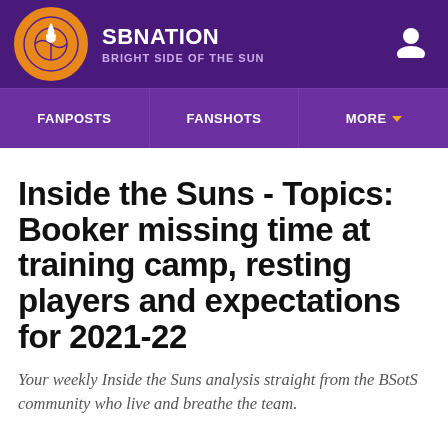SBNATION BRIGHT SIDE OF THE SUN
FANPOSTS | FANSHOTS | MORE
Inside the Suns - Topics: Booker missing time at training camp, resting players and expectations for 2021-22
Your weekly Inside the Suns analysis straight from the BSotS community who live and breathe the team.